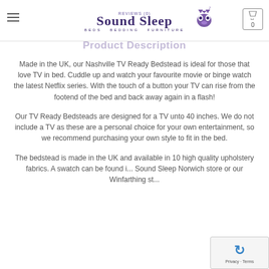Sound Sleep Ltd - BEDS BEDDING FURNITURE
Product Description
Made in the UK, our Nashville TV Ready Bedstead is ideal for those that love TV in bed. Cuddle up and watch your favourite movie or binge watch the latest Netflix series. With the touch of a button your TV can rise from the footend of the bed and back away again in a flash!
Our TV Ready Bedsteads are designed for a TV unto 40 inches. We do not include a TV as these are a personal choice for your own entertainment, so we recommend purchasing your own style to fit in the bed.
The bedstead is made in the UK and available in 10 high quality upholstery fabrics. A swatch can be found i... Sound Sleep Norwich store or our Winfarthing st...